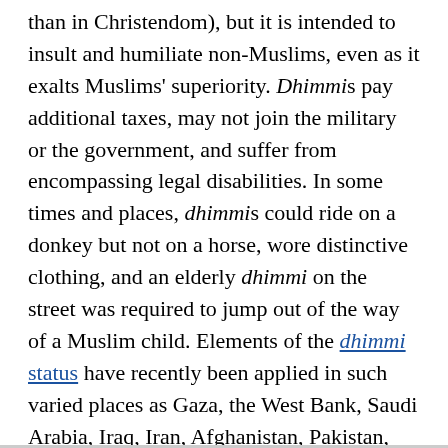than in Christendom), but it is intended to insult and humiliate non-Muslims, even as it exalts Muslims' superiority. Dhimmis pay additional taxes, may not join the military or the government, and suffer from encompassing legal disabilities. In some times and places, dhimmis could ride on a donkey but not on a horse, wore distinctive clothing, and an elderly dhimmi on the street was required to jump out of the way of a Muslim child. Elements of the dhimmi status have recently been applied in such varied places as Gaza, the West Bank, Saudi Arabia, Iraq, Iran, Afghanistan, Pakistan, Malaysia, and the Philippines. Clearly, Londonistan and beyond are also in their sights.